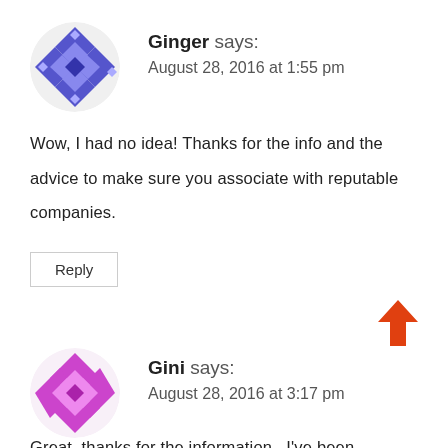[Figure (illustration): Avatar icon for Ginger: blue/purple geometric diamond pattern in a circle]
Ginger says:
August 28, 2016 at 1:55 pm
Wow, I had no idea! Thanks for the info and the advice to make sure you associate with reputable companies.
Reply
[Figure (illustration): Up arrow icon in orange/red]
[Figure (illustration): Avatar icon for Gini: purple/magenta geometric diamond pattern in a circle]
Gini says:
August 28, 2016 at 3:17 pm
Great, thanks for the information . I've been